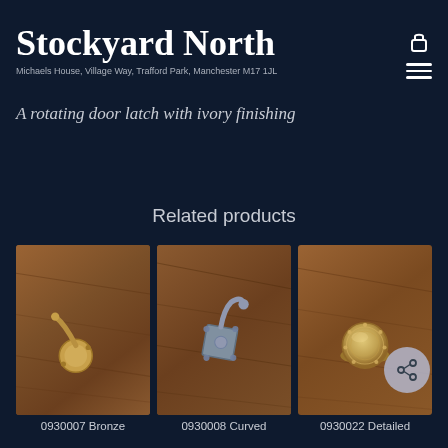Stockyard North
Michaels House, Village Way, Trafford Park, Manchester M17 1JL
A rotating door latch with ivory finishing
Related products
[Figure (photo): Bronze door latch hardware on wooden surface]
[Figure (photo): Curved metal door latch with diamond backplate on wooden surface]
[Figure (photo): Detailed ornate round door knob on wooden surface]
0930007 Bronze
0930008 Curved
0930022 Detailed